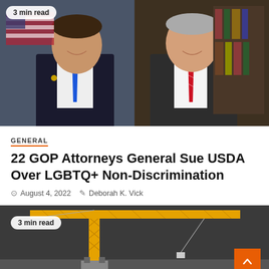[Figure (photo): Two men in suits posing for official portraits side by side. Left: younger man with dark hair, blue tie, black suit, US flag background. Right: older man with gray hair, red striped tie, dark suit, bookshelf background. Badge overlay top-left reading '3 min read'.]
GENERAL
22 GOP Attorneys General Sue USDA Over LGBTQ+ Non-Discrimination
August 4, 2022   Deborah K. Vick
[Figure (photo): Aerial or overhead view of a yellow construction crane against a dark background. Badge top-left reading '3 min read'. Orange scroll-to-top button bottom-right with upward chevron.]